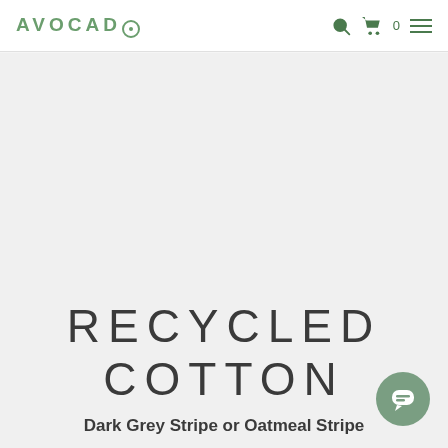AVOCADO
RECYCLED COTTON
Dark Grey Stripe or Oatmeal Stripe